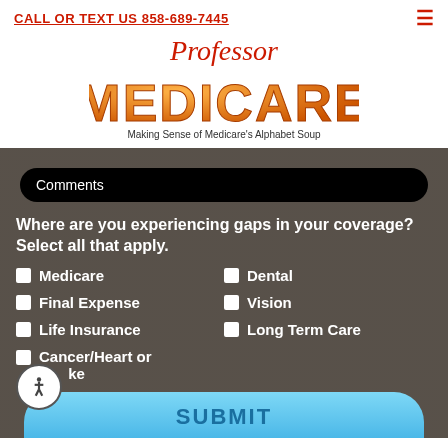CALL OR TEXT US 858-689-7445
[Figure (logo): Professor Medicare logo with orange balloon-style letters and tagline 'Making Sense of Medicare's Alphabet Soup']
Comments
Where are you experiencing gaps in your coverage? Select all that apply.
Medicare
Dental
Final Expense
Vision
Life Insurance
Long Term Care
Cancer/Heart or Stroke